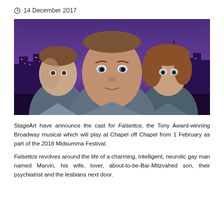14 December 2017
[Figure (photo): Promotional photo for Falsettos musical showing three actors against a purple New York City skyline background. Left: young man with short brown hair. Center: middle-aged man looking intensely at camera. Right: woman with wavy brown hair and wide eyes.]
StageArt have announce the cast for Falsettos, the Tony Award-winning Broadway musical which will play at Chapel off Chapel from 1 February as part of the 2018 Midsumma Festival.
Falsettos revolves around the life of a charming, intelligent, neurotic gay man named Marvin, his wife, lover, about-to-be-Bar-Mitzvahed son, their psychiatrist and the lesbians next door.